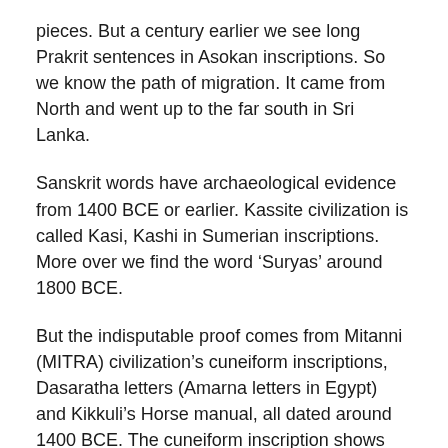pieces. But a century earlier we see long Prakrit sentences in Asokan inscriptions. So we know the path of migration. It came from North and went up to the far south in Sri Lanka.
Sanskrit words have archaeological evidence from 1400 BCE or earlier. Kassite civilization is called Kasi, Kashi in Sumerian inscriptions. More over we find the word ‘Suryas’ around 1800 BCE.
But the indisputable proof comes from Mitanni (MITRA) civilization’s cuneiform inscriptions, Dasaratha letters (Amarna letters in Egypt) and Kikkuli’s Horse manual, all dated around 1400 BCE. The cuneiform inscription shows the Vedic Gods in the same order as we see in one hymn of the Rig Veda. It is found in Bogazkoi in modern Turkey.